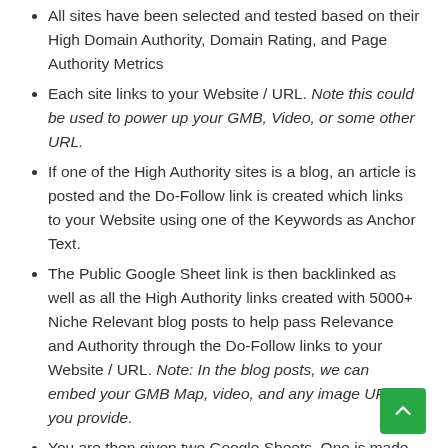All sites have been selected and tested based on their High Domain Authority, Domain Rating, and Page Authority Metrics
Each site links to your Website / URL. Note this could be used to power up your GMB, Video, or some other URL.
If one of the High Authority sites is a blog, an article is posted and the Do-Follow link is created which links to your Website using one of the Keywords as Anchor Text.
The Public Google Sheet link is then backlinked as well as all the High Authority links created with 5000+ Niche Relevant blog posts to help pass Relevance and Authority through the Do-Follow links to your Website / URL. Note: In the blog posts, we can embed your GMB Map, video, and any image URLs you provide.
You are then given two Google Sheets. One is made